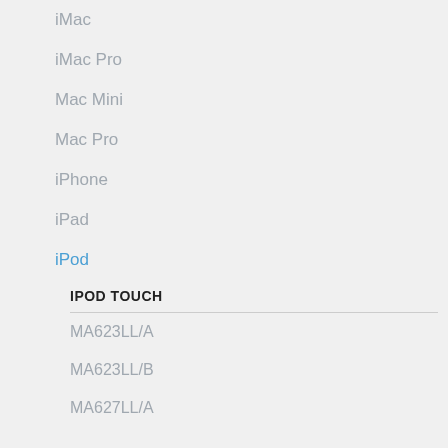iMac
iMac Pro
Mac Mini
Mac Pro
iPhone
iPad
iPod
IPOD TOUCH
MA623LL/A
MA623LL/B
MA627LL/A